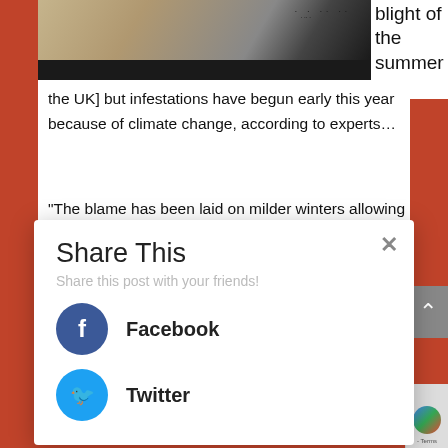[Figure (photo): Photo of ants on a sandy/grainy surface with dark background, partially cropped. Black bar at bottom of image.]
blight of the summer [in the UK] but infestations have begun early this year because of climate change, according to experts...
“The blame has been laid on milder winters allowing the insects to emerge earlier to breed. This February was the warmest on record, according to the Met Office, with
Share This
Share this post with your friends!
Facebook
Twitter